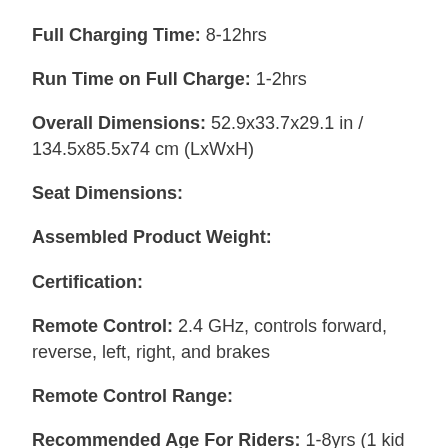Full Charging Time: 8-12hrs
Run Time on Full Charge: 1-2hrs
Overall Dimensions: 52.9x33.7x29.1 in / 134.5x85.5x74 cm (LxWxH)
Seat Dimensions:
Assembled Product Weight:
Certification:
Remote Control: 2.4 GHz, controls forward, reverse, left, right, and brakes
Remote Control Range:
Recommended Age For Riders: 1-8yrs (1 kid between the ages of 1-8yrs, 2 kids between 1-6 years old)